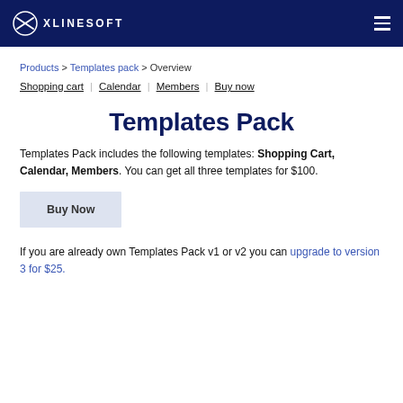XLINESOFT
Products > Templates pack > Overview
Shopping cart | Calendar | Members | Buy now
Templates Pack
Templates Pack includes the following templates: Shopping Cart, Calendar, Members. You can get all three templates for $100.
Buy Now
If you are already own Templates Pack v1 or v2 you can upgrade to version 3 for $25.